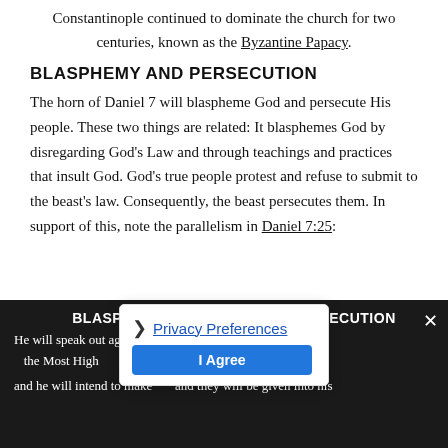Constantinople continued to dominate the church for two centuries, known as the Byzantine Papacy.
BLASPHEMY AND PERSECUTION
The horn of Daniel 7 will blaspheme God and persecute His people. These two things are related: It blasphemes God by disregarding God's Law and through teachings and practices that insult God. God's true people protest and refuse to submit to the beast's law. Consequently, the beast persecutes them. In support of this, note the parallelism in Daniel 7:25:
| BLASPHEMY | PERSECUTION |
| --- | --- |
| He will speak out against the Most High | wear down the saints of the Highest One |
Privacy Preferences / I Agree (overlay)
and he will intend to make... and they will be given into his